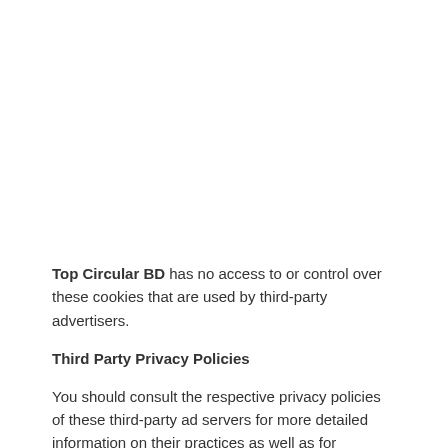Top Circular BD has no access to or control over these cookies that are used by third-party advertisers.
Third Party Privacy Policies
You should consult the respective privacy policies of these third-party ad servers for more detailed information on their practices as well as for instructions about how to opt-out of certain practices. www.jobs.LekhaporaBD.com's privacy policy does not apply to, and we cannot control the activities of, such other advertisers or web